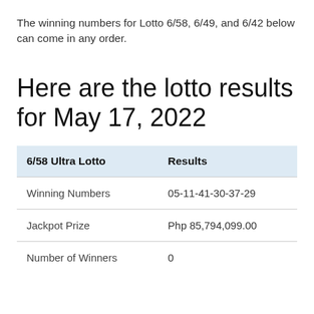The winning numbers for Lotto 6/58, 6/49, and 6/42 below can come in any order.
Here are the lotto results for May 17, 2022
| 6/58 Ultra Lotto | Results |
| --- | --- |
| Winning Numbers | 05-11-41-30-37-29 |
| Jackpot Prize | Php 85,794,099.00 |
| Number of Winners | 0 |